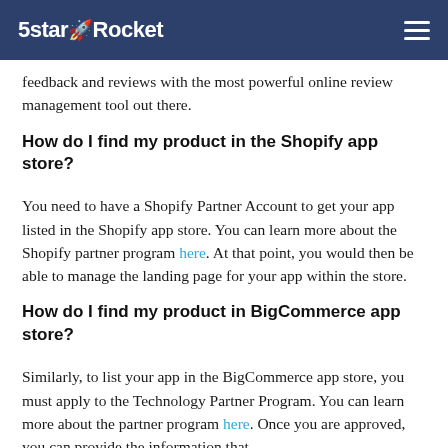5starRocket
feedback and reviews with the most powerful online review management tool out there.
How do I find my product in the Shopify app store?
You need to have a Shopify Partner Account to get your app listed in the Shopify app store. You can learn more about the Shopify partner program here. At that point, you would then be able to manage the landing page for your app within the store.
How do I find my product in BigCommerce app store?
Similarly, to list your app in the BigCommerce app store, you must apply to the Technology Partner Program. You can learn more about the partner program here. Once you are approved, you can provide the information that